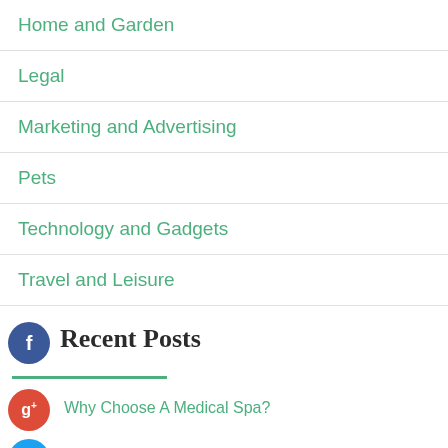Home and Garden
Legal
Marketing and Advertising
Pets
Technology and Gadgets
Travel and Leisure
Recent Posts
Why Choose A Medical Spa?
Benefits of Press Release Submission Services
How To Choose A Solar Skylight For Your Home
Things To Know Before You Visit An Eye Doctor For Your First Time